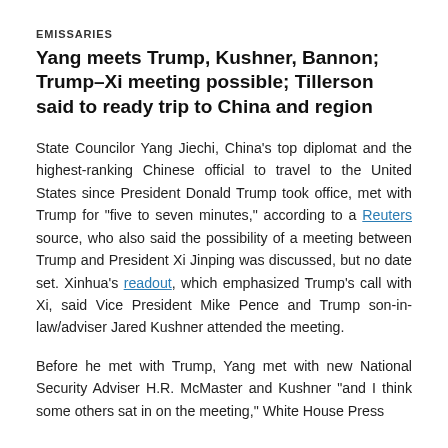EMISSARIES
Yang meets Trump, Kushner, Bannon; Trump–Xi meeting possible; Tillerson said to ready trip to China and region
State Councilor Yang Jiechi, China's top diplomat and the highest-ranking Chinese official to travel to the United States since President Donald Trump took office, met with Trump for "five to seven minutes," according to a Reuters source, who also said the possibility of a meeting between Trump and President Xi Jinping was discussed, but no date set. Xinhua's readout, which emphasized Trump's call with Xi, said Vice President Mike Pence and Trump son-in-law/adviser Jared Kushner attended the meeting.
Before he met with Trump, Yang met with new National Security Adviser H.R. McMaster and Kushner "and I think some others sat in on the meeting," White House Press